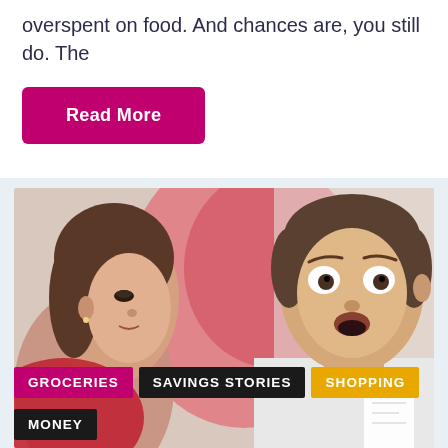overspent on food. And chances are, you still do. The
Read More
[Figure (photo): A woman and a man looking shocked, possibly at a receipt or bill, with a red blurred background. Used in a personal finance / grocery savings article context.]
GROCERIES   SAVINGS STORIES   SHOPPING   MONEY